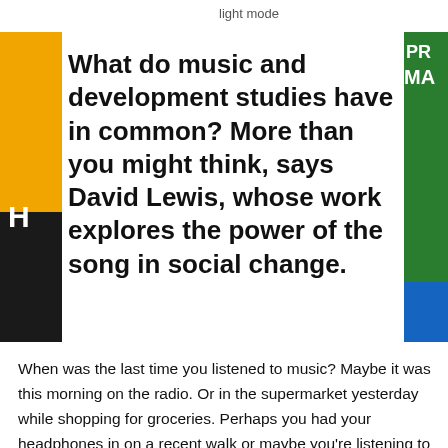light mode
[Figure (photo): Left side image strip showing yellow/orange and black sections with a large white H letter visible]
[Figure (photo): Right side image strip showing green protest poster with letters PR and MA visible, and blue section at bottom]
What do music and development studies have in common? More than you might think, says David Lewis, whose work explores the power of the song in social change.
When was the last time you listened to music? Maybe it was this morning on the radio. Or in the supermarket yesterday while shopping for groceries. Perhaps you had your headphones in on a recent walk or maybe you’re listening to a playlist right now while browsing online.